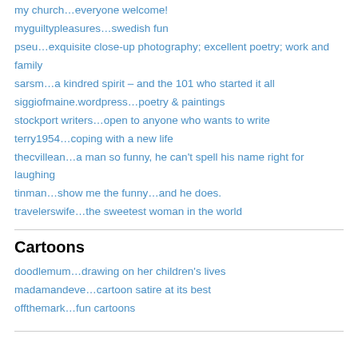my church…everyone welcome!
myguiltypleasures…swedish fun
pseu…exquisite close-up photography; excellent poetry; work and family
sarsm…a kindred spirit – and the 101 who started it all
siggiofmaine.wordpress…poetry & paintings
stockport writers…open to anyone who wants to write
terry1954…coping with a new life
thecvillean…a man so funny, he can't spell his name right for laughing
tinman…show me the funny…and he does.
travelerswife…the sweetest woman in the world
Cartoons
doodlemum…drawing on her children's lives
madamandeve…cartoon satire at its best
offthemark…fun cartoons